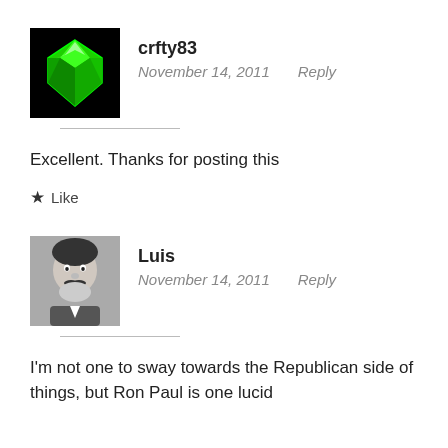[Figure (illustration): Green diamond avatar icon on black background for user crfty83]
crfty83
November 14, 2011    Reply
Excellent. Thanks for posting this
★ Like
[Figure (photo): Black and white photo of a man with a mustache for user Luis]
Luis
November 14, 2011    Reply
I'm not one to sway towards the Republican side of things, but Ron Paul is one lucid